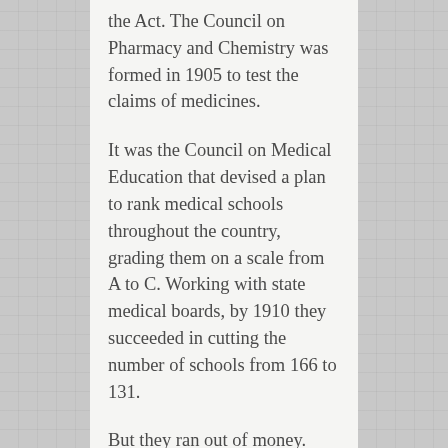the Act. The Council on Pharmacy and Chemistry was formed in 1905 to test the claims of medicines.
It was the Council on Medical Education that devised a plan to rank medical schools throughout the country, grading them on a scale from A to C. Working with state medical boards, by 1910 they succeeded in cutting the number of schools from 166 to 131.
But they ran out of money.